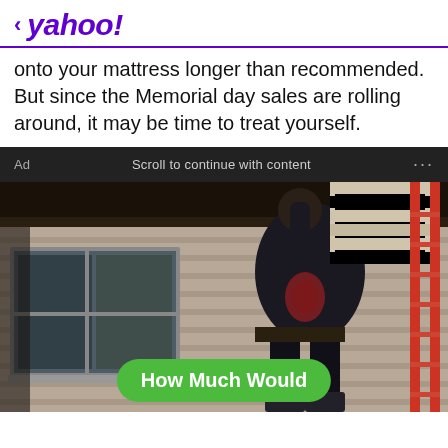< yahoo!
onto your mattress longer than recommended. But since the Memorial day sales are rolling around, it may be time to treat yourself.
Ad   Scroll to continue with content   ...
[Figure (photo): A person climbing a ladder against a house exterior, carrying insulation material on their back. The house has beige siding and a window visible on the left.]
How Much Would